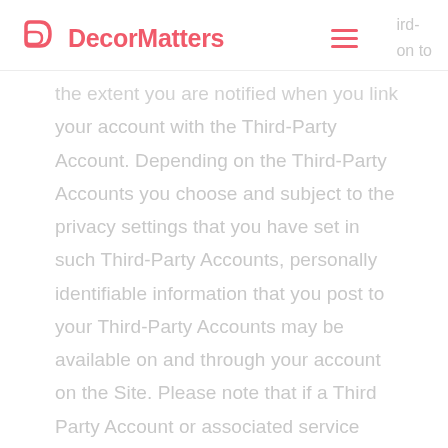DecorMatters
the extent you are notified when you link your account with the Third-Party Account. Depending on the Third-Party Accounts you choose and subject to the privacy settings that you have set in such Third-Party Accounts, personally identifiable information that you post to your Third-Party Accounts may be available on and through your account on the Site. Please note that if a Third-Party Account or associated service becomes unavailable or our access to such Third-Party Account is terminated